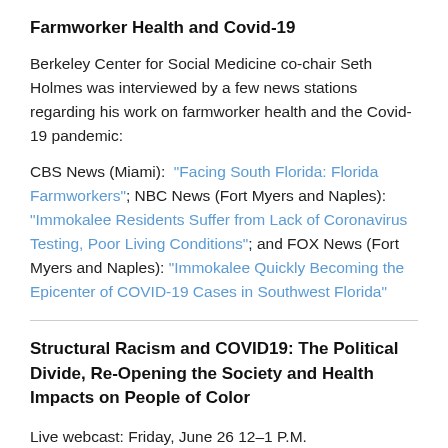Farmworker Health and Covid-19
Berkeley Center for Social Medicine co-chair Seth Holmes was interviewed by a few news stations regarding his work on farmworker health and the Covid-19 pandemic:
CBS News (Miami): "Facing South Florida: Florida Farmworkers"; NBC News (Fort Myers and Naples): "Immokalee Residents Suffer from Lack of Coronavirus Testing, Poor Living Conditions"; and FOX News (Fort Myers and Naples): "Immokalee Quickly Becoming the Epicenter of COVID-19 Cases in Southwest Florida"
Structural Racism and COVID19: The Political Divide, Re-Opening the Society and Health Impacts on People of Color
Live webcast: Friday, June 26 12–1 P.M.
This event will be broadcast live on this page. You can also watch this event live on the UC Berkeley Facebook page.
Recent California data show that citizen perspectives on rolling